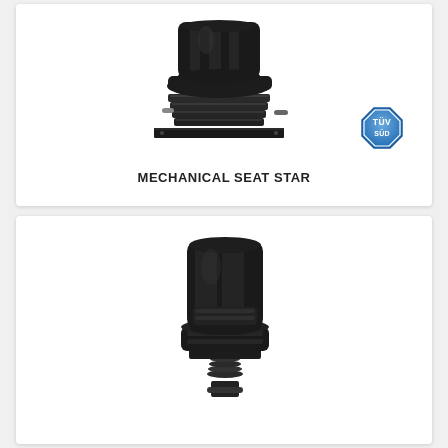[Figure (photo): Black mechanical seat (Mechanical Seat Star) with spring suspension base and metal mounting plate, with TUV SUD certification badge]
MECHANICAL SEAT STAR
[Figure (photo): Black upholstered tractor/forklift seat with backrest, seat cushion, and mechanical suspension base]